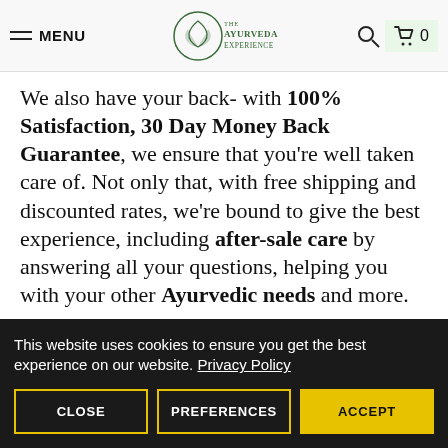MENU | THE AYURVEDA EXPERIENCE | 🔍 | 🛒 0
We also have your back- with 100% Satisfaction, 30 Day Money Back Guarantee, we ensure that you're well taken care of. Not only that, with free shipping and discounted rates, we're bound to give the best experience, including after-sale care by answering all your questions, helping you with your other Ayurvedic needs and more.
This website uses cookies to ensure you get the best experience on our website. Privacy Policy
CLOSE | PREFERENCES | ACCEPT